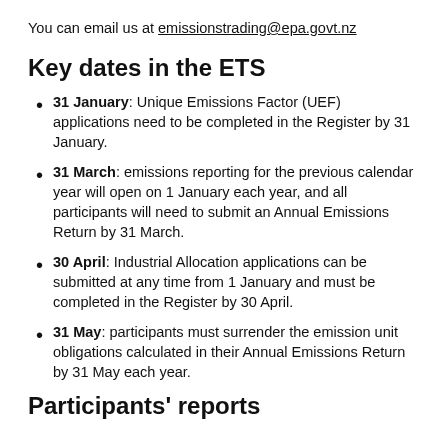You can email us at emissionstrading@epa.govt.nz
Key dates in the ETS
31 January: Unique Emissions Factor (UEF) applications need to be completed in the Register by 31 January.
31 March: emissions reporting for the previous calendar year will open on 1 January each year, and all participants will need to submit an Annual Emissions Return by 31 March.
30 April: Industrial Allocation applications can be submitted at any time from 1 January and must be completed in the Register by 30 April.
31 May: participants must surrender the emission unit obligations calculated in their Annual Emissions Return by 31 May each year.
Participants' reports